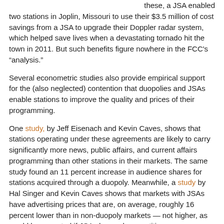these, a JSA enabled two stations in Joplin, Missouri to use their $3.5 million of cost savings from a JSA to upgrade their Doppler radar system, which helped save lives when a devastating tornado hit the town in 2011. But such benefits figure nowhere in the FCC’s “analysis.”
Several econometric studies also provide empirical support for the (also neglected) contention that duopolies and JSAs enable stations to improve the quality and prices of their programming.
One study, by Jeff Eisenach and Kevin Caves, shows that stations operating under these agreements are likely to carry significantly more news, public affairs, and current affairs programming than other stations in their markets. The same study found an 11 percent increase in audience shares for stations acquired through a duopoly. Meanwhile, a study by Hal Singer and Kevin Caves shows that markets with JSAs have advertising prices that are, on average, roughly 16 percent lower than in non-duopoly markets — not higher, as would be expected if JSAs harmed competition.
And again, Commissioner Pai provides several examples of these benefits in his dissenting statement. In one of these, a JSA in Wichita, Kansas enabled one of the two stations to